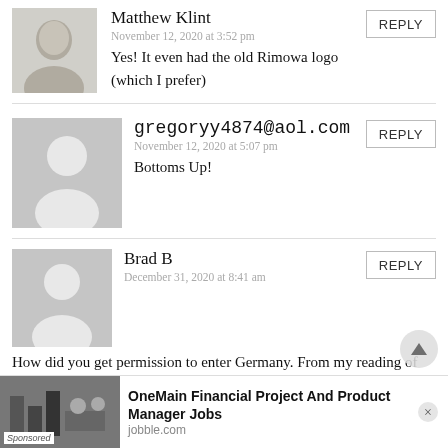Matthew Klint
November 12, 2020 at 3:52 pm
Yes! It even had the old Rimowa logo (which I prefer)
gregoryy4874@aol.com
November 12, 2020 at 5:07 pm
Bottoms Up!
Brad B
December 31, 2020 at 8:41 am
How did you get permission to enter Germany. From my reading of the regulations you can only enter if you are an EU citizen, resident, or with one of those? It doesn't appear that you were, is there another entry way that I am missing
[Figure (infographic): Advertisement for OneMain Financial Project And Product Manager Jobs on jobble.com, with a sponsored label]